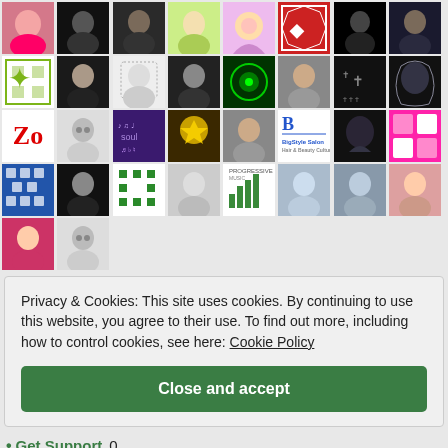[Figure (photo): Grid of social media profile avatars arranged in 5 rows of up to 8 columns, showing profile photos, illustrations, logos, and decorative images]
Privacy & Cookies: This site uses cookies. By continuing to use this website, you agree to their use. To find out more, including how to control cookies, see here: Cookie Policy
Close and accept
Get Support 0